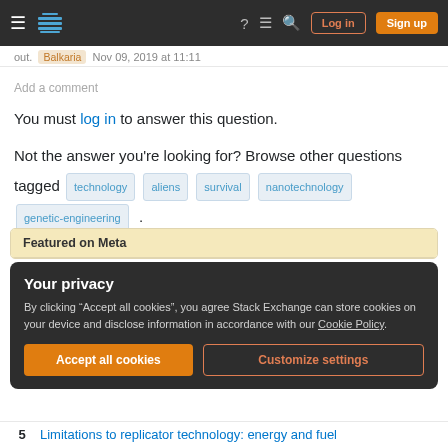Stack Exchange navigation bar with Log in and Sign up buttons
out. Balkaria Nov 09, 2019 at 11:11
Add a comment
You must log in to answer this question.
Not the answer you're looking for? Browse other questions tagged technology aliens survival nanotechnology genetic-engineering .
Featured on Meta
Your privacy
By clicking "Accept all cookies", you agree Stack Exchange can store cookies on your device and disclose information in accordance with our Cookie Policy.
Accept all cookies
Customize settings
5   Limitations to replicator technology: energy and fuel